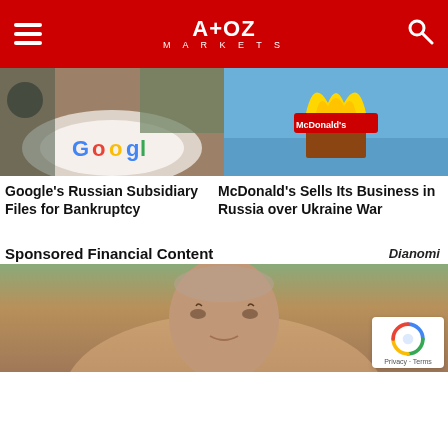A+OZ MARKETS
[Figure (photo): Google branded bowl on a desk with a person in background]
Google's Russian Subsidiary Files for Bankruptcy
[Figure (photo): McDonald's sign against a blue sky]
McDonald's Sells Its Business in Russia over Ukraine War
Sponsored Financial Content
Dianomi
[Figure (photo): Close-up of a middle-aged man's face with blurred green background]